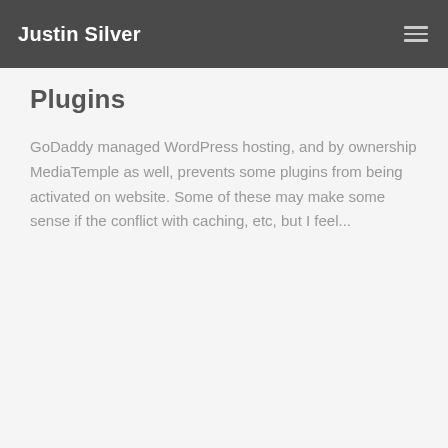Justin Silver
Plugins
GoDaddy managed WordPress hosting, and by ownership MediaTemple as well, prevents some plugins from being activated on website. Some of these may make some sense if the conflict with caching, etc, but I feel...